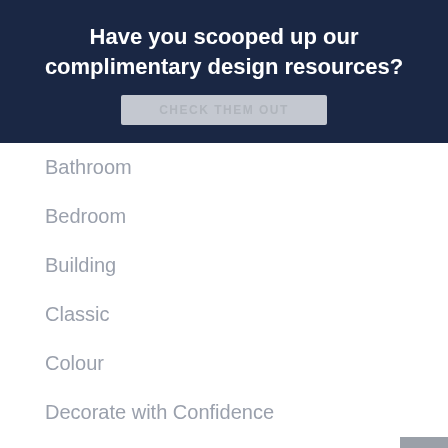Have you scooped up our complimentary design resources?
Bathroom
Bedroom
Building
Classic
Colour
Decorate with Confidence
Decorating
Downloads
Hamptons
Herritage
Interior Design